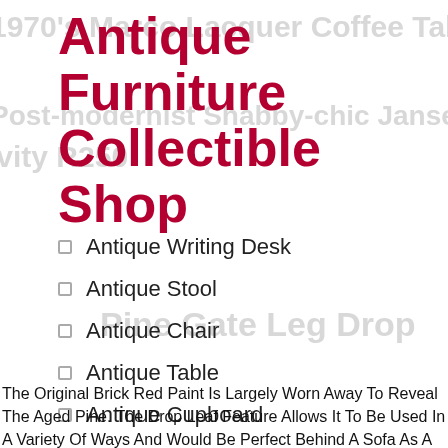Antique Furniture Collectible Shop
Antique Writing Desk
Antique Stool
Antique Chair
Antique Table
Antique Cupboard
Antique Cabinet
The Original Brick Red Paint Is Largely Worn Away To Reveal The Aged Pine. The Drop Leaf Feature Allows It To Be Used In A Variety Of Ways And Would Be Perfect Behind A Sofa As A Slender Console Table.